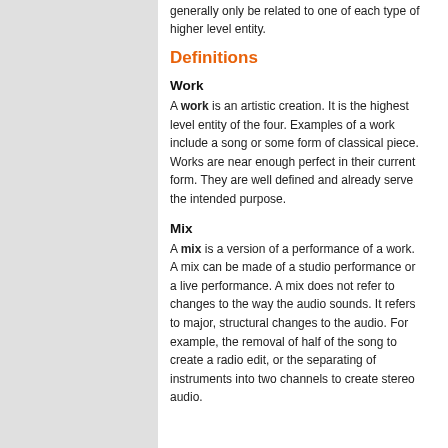generally only be related to one of each type of higher level entity.
Definitions
Work
A work is an artistic creation. It is the highest level entity of the four. Examples of a work include a song or some form of classical piece. Works are near enough perfect in their current form. They are well defined and already serve the intended purpose.
Mix
A mix is a version of a performance of a work. A mix can be made of a studio performance or a live performance. A mix does not refer to changes to the way the audio sounds. It refers to major, structural changes to the audio. For example, the removal of half of the song to create a radio edit, or the separating of instruments into two channels to create stereo audio.